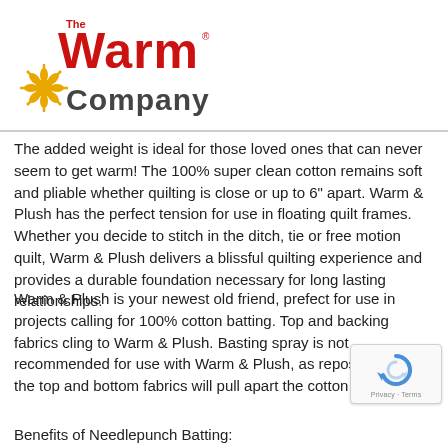[Figure (logo): The Warm Company logo - red stylized 'Warm' text with sun/snowflake icon and 'Company' text below]
The added weight is ideal for those loved ones that can never seem to get warm! The 100% super clean cotton remains soft and pliable whether quilting is close or up to 6" apart. Warm & Plush has the perfect tension for use in floating quilt frames. Whether you decide to stitch in the ditch, tie or free motion quilt, Warm & Plush delivers a blissful quilting experience and provides a durable foundation necessary for long lasting relationships.
Warm & Plush is your newest old friend, prefect for use in projects calling for 100% cotton batting. Top and backing fabrics cling to Warm & Plush. Basting spray is not recommended for use with Warm & Plush, as repositioning the top and bottom fabrics will pull apart the cotton
Benefits of Needlepunch Batting: